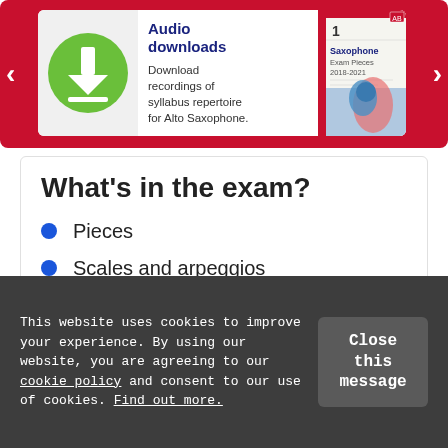[Figure (screenshot): Promotional banner for Audio downloads - showing a green download arrow icon and a book cover for Saxophone Exam Pieces 2018-2021. Text: Audio downloads. Download recordings of syllabus repertoire for Alto Saxophone.]
What's in the exam?
Pieces
Scales and arpeggios
Aural tests (partially visible)
This website uses cookies to improve your experience. By using our website, you are agreeing to our cookie policy and consent to our use of cookies. Find out more.